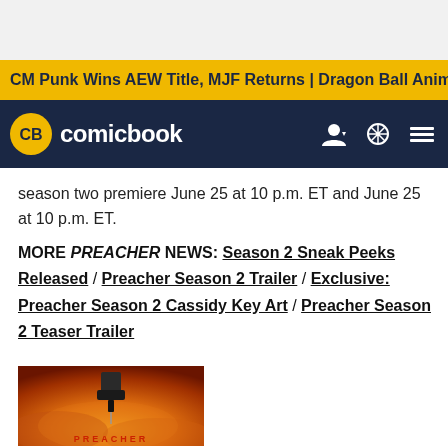CM Punk Wins AEW Title, MJF Returns | Dragon Ball Anime R
comicbook
season two premiere June 25 at 10 p.m. ET and June 25 at 10 p.m. ET.
MORE PREACHER NEWS: Season 2 Sneak Peeks Released / Preacher Season 2 Trailer / Exclusive: Preacher Season 2 Cassidy Key Art / Preacher Season 2 Teaser Trailer
[Figure (photo): Preacher TV show promotional poster with orange/fire background and staple gun imagery, PREACHER text in red at bottom]